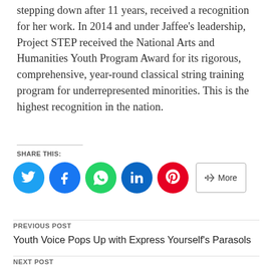stepping down after 11 years, received a recognition for her work. In 2014 and under Jaffee's leadership, Project STEP received the National Arts and Humanities Youth Program Award for its rigorous, comprehensive, year-round classical string training program for underrepresented minorities. This is the highest recognition in the nation.
SHARE THIS:
[Figure (other): Social share buttons: Twitter (blue circle), Facebook (blue circle), WhatsApp (green circle), LinkedIn (dark blue circle), Pinterest (red circle), and a 'More' button with share icon.]
PREVIOUS POST
Youth Voice Pops Up with Express Yourself's Parasols
NEXT POST
DYS Youth Voice What Matters at Annual Statewide Showcase